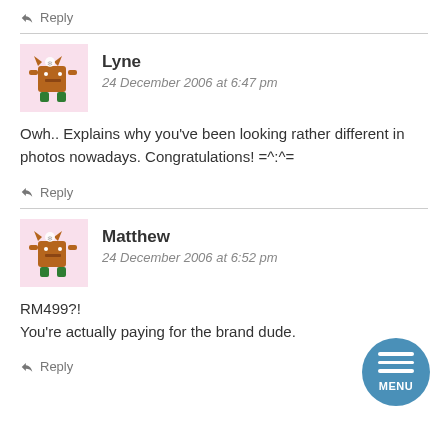↩ Reply
[Figure (illustration): Avatar icon for user Lyne — cartoon monster in pink box]
Lyne
24 December 2006 at 6:47 pm
Owh.. Explains why you've been looking rather different in photos nowadays. Congratulations! =^:^=
↩ Reply
[Figure (illustration): Avatar icon for user Matthew — cartoon monster in pink box]
Matthew
24 December 2006 at 6:52 pm
RM499?!
You're actually paying for the brand dude.
↩ Reply
[Figure (other): Blue circular MENU button with three horizontal white bars]